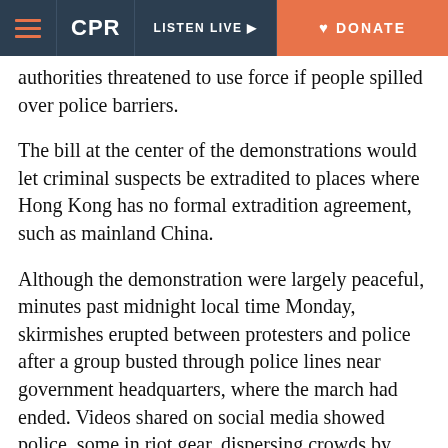CPR | LISTEN LIVE | DONATE
authorities threatened to use force if people spilled over police barriers.
The bill at the center of the demonstrations would let criminal suspects be extradited to places where Hong Kong has no formal extradition agreement, such as mainland China.
Although the demonstration were largely peaceful, minutes past midnight local time Monday, skirmishes erupted between protesters and police after a group busted through police lines near government headquarters, where the march had ended. Videos shared on social media showed police, some in riot gear, dispersing crowds by using pepper spray and batons.